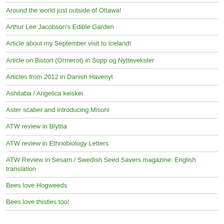Around the world just outside of Ottawa!
Arthur Lee Jacobson's Edible Garden
Article about my September visit to Iceland!
Article on Bistort (Ormerot) in Sopp og Nyttevekster
Articles from 2012 in Danish Havenyt
Ashitaba / Angelica keiskei
Aster scaber and introducing Misoni
ATW review in Blyttia
ATW review in Ethnobiology Letters
ATW Review in Sesam / Swedish Seed Savers magazine: English translation
Bees love Hogweeds
Bees love thistles too!